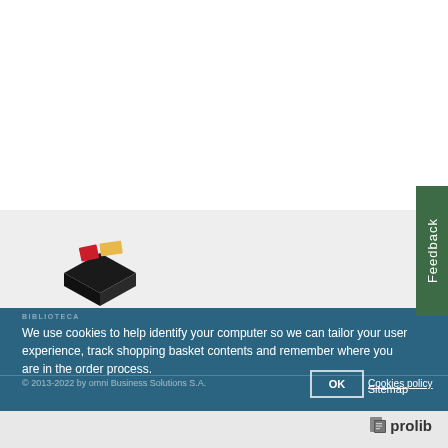[Figure (logo): Biblioteca logo with colored squares (red, yellow) and black base forming a book/box shape]
Feedback
BIBLIOTECA
We use cookies to help identify your computer so we can tailor your user experience, track shopping basket contents and remember where you are in the order process.
© 2013-2022 by omni Business Solutions S.A.
OK
Cookies policy
Sitemap
[Figure (logo): Prolib logo — small document icon followed by bold text 'prolib']